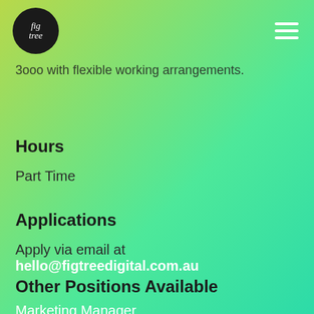fig tree [logo] | hamburger menu
3ooo with flexible working arrangements.
Hours
Part Time
Applications
Apply via email at hello@figtreedigital.com.au
Other Positions Available
Marketing Manager